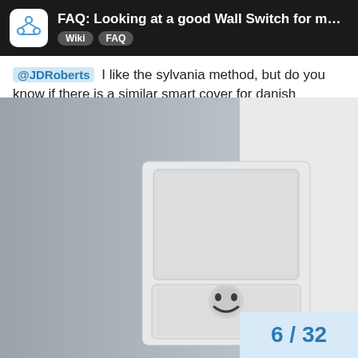FAQ: Looking at a good Wall Switch for my H... Wiki FAQ
@JDRoberts I like the sylvania method, but do you know if there is a similar smart cover for danish switches?
[Figure (photo): Photo of a white wall-mounted Danish switch module combined with a power outlet, mounted on a light grey wall. The switch is a large square rocker button and below it is a round European-style socket outlet.]
6 / 32